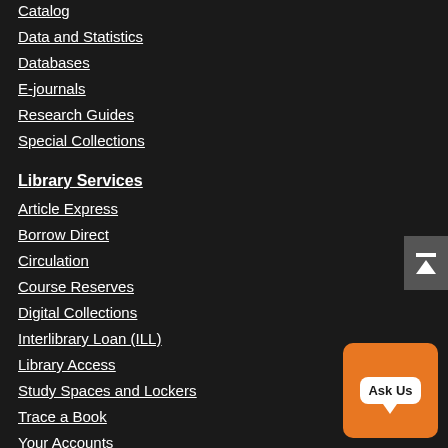Catalog
Data and Statistics
Databases
E-journals
Research Guides
Special Collections
Library Services
Article Express
Borrow Direct
Circulation
Course Reserves
Digital Collections
Interlibrary Loan (ILL)
Library Access
Study Spaces and Lockers
Trace a Book
Your Accounts